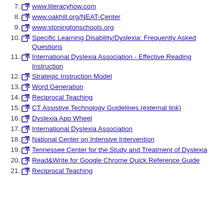7. www.literacyhow.com
8. www.oakhill.org/NEAT-Center
9. www.stoningtonschools.org
10. Specific Learning Disability/Dyslexia: Frequently Asked Questions
11. International Dyslexia Association - Effective Reading Instruction
12. Strategic Instruction Model
13. Word Generation
14. Reciprocal Teaching
15. CT Assistive Technology Guidelines (external link)
16. Dyslexia App Wheel
17. International Dyslexia Association
18. National Center on Intensive Intervention
19. Tennessee Center for the Study and Treatment of Dyslexia
20. Read&Write for Google Chrome Quick Reference Guide
21. Reciprocal Teaching